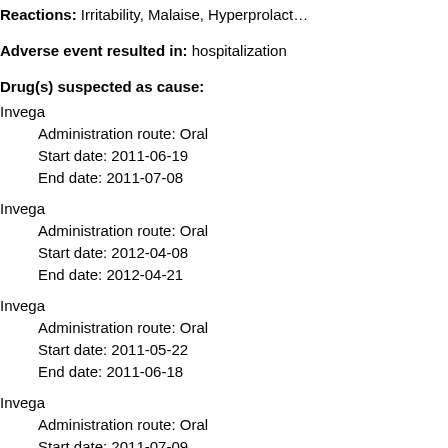Reactions: Irritability, Malaise, Hyperprolact…
Adverse event resulted in: hospitalization
Drug(s) suspected as cause:
Invega
  Administration route: Oral
  Start date: 2011-06-19
  End date: 2011-07-08
Invega
  Administration route: Oral
  Start date: 2012-04-08
  End date: 2012-04-21
Invega
  Administration route: Oral
  Start date: 2011-05-22
  End date: 2011-06-18
Invega
  Administration route: Oral
  Start date: 2011-07-09
  End date: 2012-04-07
Invega